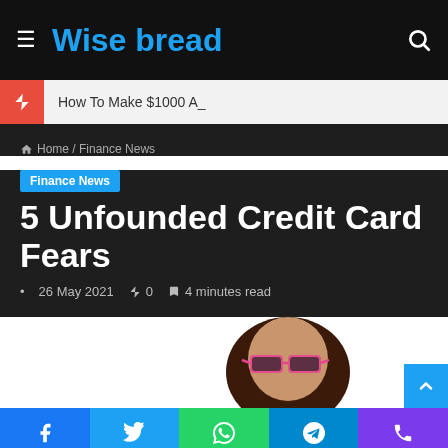Wise bread
How To Make $1000 A...
Home / Finance News
Finance News
5 Unfounded Credit Card Fears
26 May 2021  🔥 0  📖 4 minutes read
[Figure (photo): Person wearing pink sunglasses, partially visible, white background]
Facebook | Twitter | WhatsApp | Telegram | Phone